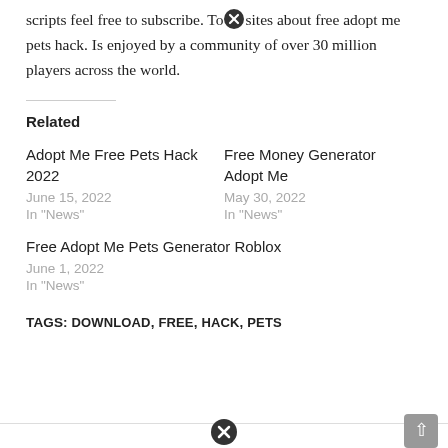scripts feel free to subscribe. To sites about free adopt me pets hack. Is enjoyed by a community of over 30 million players across the world.
Related
Adopt Me Free Pets Hack 2022
June 15, 2022
In "News"
Free Money Generator Adopt Me
May 30, 2022
In "News"
Free Adopt Me Pets Generator Roblox
June 1, 2022
In "News"
TAGS: DOWNLOAD, FREE, HACK, PETS